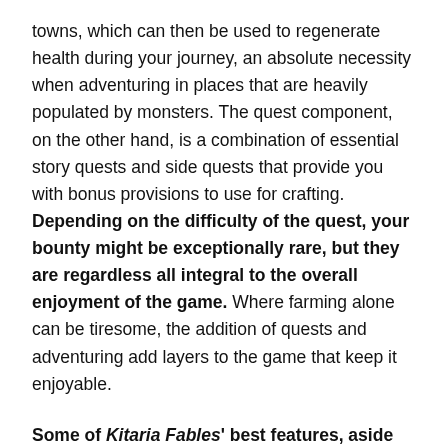towns, which can then be used to regenerate health during your journey, an absolute necessity when adventuring in places that are heavily populated by monsters. The quest component, on the other hand, is a combination of essential story quests and side quests that provide you with bonus provisions to use for crafting. Depending on the difficulty of the quest, your bounty might be exceptionally rare, but they are regardless all integral to the overall enjoyment of the game. Where farming alone can be tiresome, the addition of quests and adventuring add layers to the game that keep it enjoyable.
Some of Kitaria Fables' best features, aside from the general combo format, are its adorable characters and beautifully rendered landscapes. The world map for Kitaria Fables is quite extensive, providing you with a